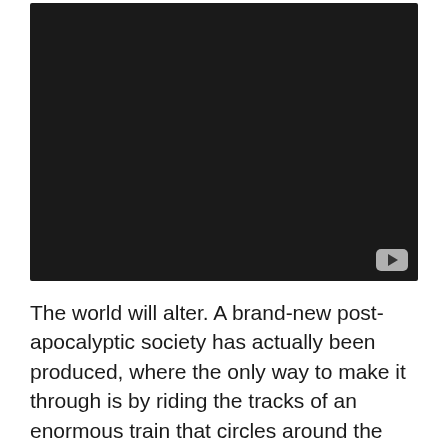[Figure (other): A dark/black video player embed with a YouTube play button icon in the bottom-right corner]
The world will alter. A brand-new post-apocalyptic society has actually been produced, where the only way to make it through is by riding the tracks of an enormous train that circles around the globe